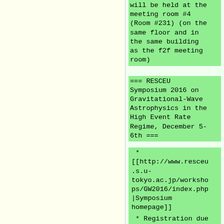will be held at the meeting room #4 (Room #231) (on the same floor and in the same building as the f2f meeting room)
=== RESCEU Symposium 2016 on Gravitational-Wave Astrophysics in the High Event Rate Regime, December 5-6th ===
* [[http://www.resceu.s.u-tokyo.ac.jp/workshops/GW2016/index.php|Symposium homepage]]
* Registration due